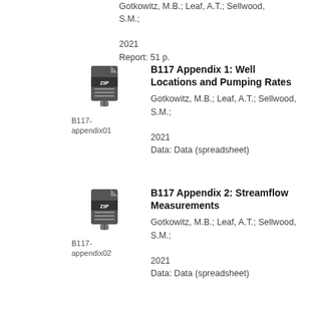Gotkowitz, M.B.; Leaf, A.T.; Sellwood, S.M.;
2021
Report: 51 p.
[Figure (illustration): ZIP file icon for B117-appendix01]
B117-appendix01
B117 Appendix 1: Well Locations and Pumping Rates
Gotkowitz, M.B.; Leaf, A.T.; Sellwood, S.M.;
2021
Data: Data (spreadsheet)
[Figure (illustration): ZIP file icon for B117-appendix02]
B117-appendix02
B117 Appendix 2: Streamflow Measurements
Gotkowitz, M.B.; Leaf, A.T.; Sellwood, S.M.;
2021
Data: Data (spreadsheet)